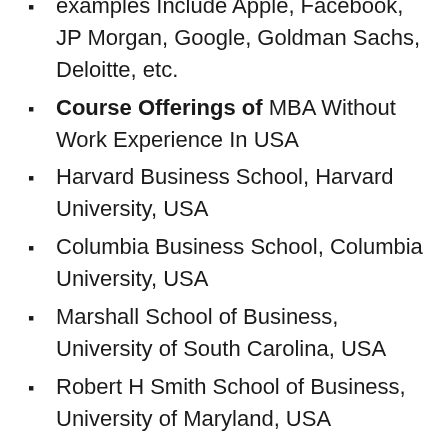examples Include Apple, Facebook, JP Morgan, Google, Goldman Sachs, Deloitte, etc.
Course Offerings of MBA Without Work Experience In USA
Harvard Business School, Harvard University, USA
Columbia Business School, Columbia University, USA
Marshall School of Business, University of South Carolina, USA
Robert H Smith School of Business, University of Maryland, USA
Carey Business School, Johns Hopkins University, USA